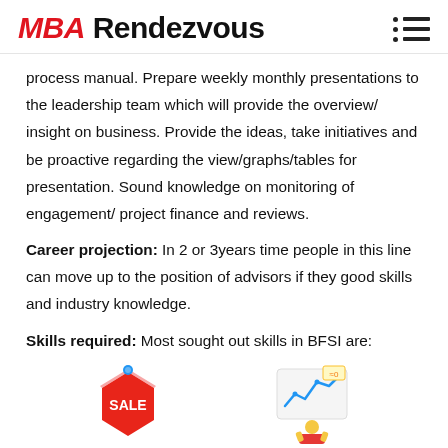MBA Rendezvous
process manual. Prepare weekly monthly presentations to the leadership team which will provide the overview/ insight on business. Provide the ideas, take initiatives and be proactive regarding the view/graphs/tables for presentation. Sound knowledge on monitoring of engagement/ project finance and reviews.
Career projection: In 2 or 3years time people in this line can move up to the position of advisors if they good skills and industry knowledge.
Skills required: Most sought out skills in BFSI are:
[Figure (illustration): Two small decorative icons at the bottom: a sale tag icon on the left and a financial chart/graph icon on the right]